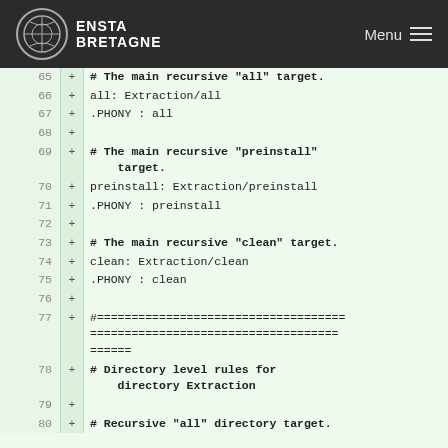ENSTA BRETAGNE — Menu
[Figure (screenshot): Code diff view showing lines 65–80 of a Makefile with added lines (prefixed with +) on a light green background. Lines include recursive targets for 'all', 'preinstall', 'clean', and directory-level rules for Extraction.]